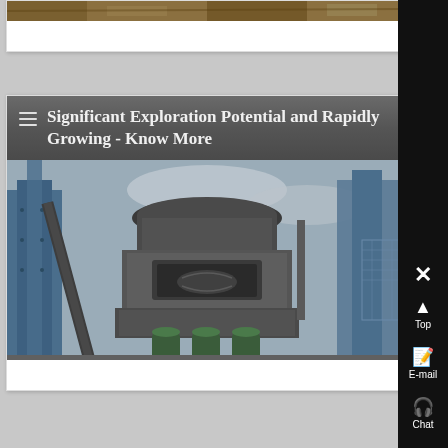[Figure (photo): Partial view of mining or earthwork site, cropped at top of page - brown/rocky terrain]
[Figure (photo): Industrial cone crusher or similar heavy mining/processing equipment inside a facility with blue steel structure, grey overcast sky visible]
Significant Exploration Potential and Rapidly Growing - Know More